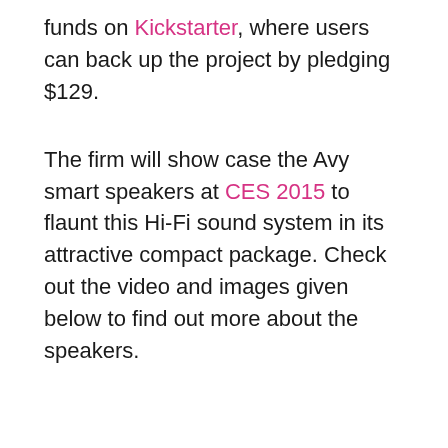funds on Kickstarter, where users can back up the project by pledging $129.
The firm will show case the Avy smart speakers at CES 2015 to flaunt this Hi-Fi sound system in its attractive compact package. Check out the video and images given below to find out more about the speakers.